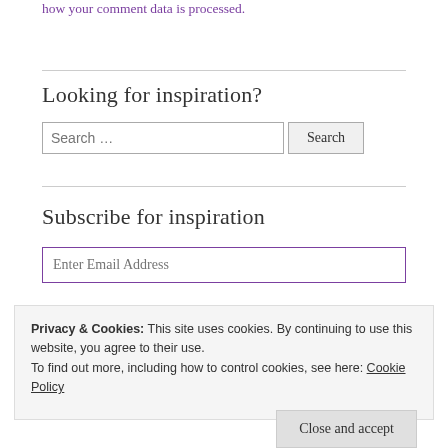how your comment data is processed.
Looking for inspiration?
Search …
Subscribe for inspiration
Enter Email Address
Privacy & Cookies: This site uses cookies. By continuing to use this website, you agree to their use.
To find out more, including how to control cookies, see here: Cookie Policy
Close and accept